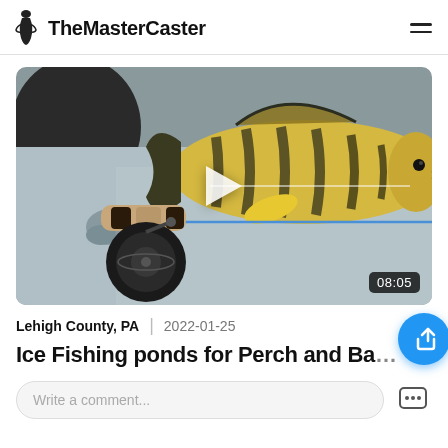TheMasterCaster
[Figure (screenshot): Video thumbnail showing a yellow perch fish held over ice with a fishing rod and spinning reel visible below, with a play button overlay and duration badge showing 08:05]
Lehigh County, PA   2022-01-25
Ice Fishing ponds for Perch and Ba...
Write a comment...